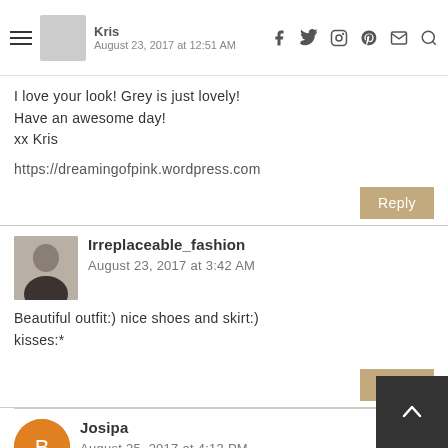Kris | August 23, 2017 at 12:51 AM
I love your look! Grey is just lovely!
Have an awesome day!
xx Kris

https://dreamingofpink.wordpress.com
Reply
Irreplaceable_fashion
August 23, 2017 at 3:42 AM
Beautiful outfit:) nice shoes and skirt:)
kisses:*
Reply
Josipa
August 25, 2017 at 4:13 PM